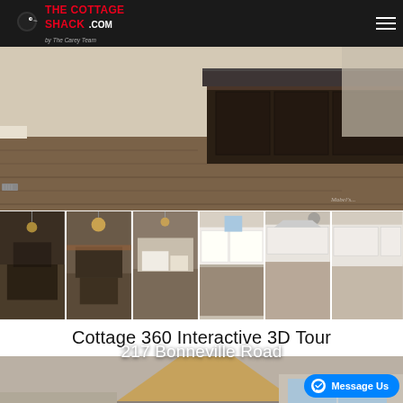The Cottage Shack .com by The Carey Team
[Figure (photo): Interior kitchen photo showing dark wood floors, granite island countertop with dark wood cabinetry, wide angle view]
[Figure (photo): Six thumbnail photos of cottage interior: kitchen with chandelier, dining room, open plan living, white kitchen cabinets, kitchen detail, kitchen angle]
Cottage 360 Interactive 3D Tour
[Figure (screenshot): 360 interactive 3D tour preview showing interior room with exposed beam ceiling and windows, with address overlay '217 Bonneville Road']
217 Bonneville Road